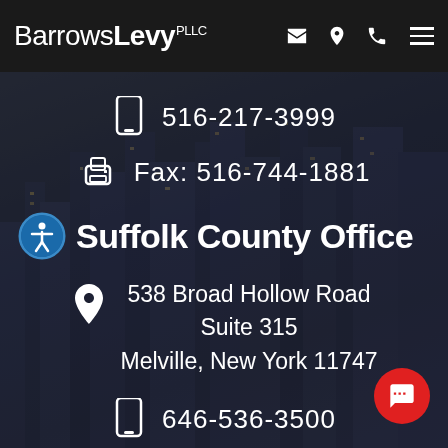BarrowsLevy PLLC
516-217-3999
Fax: 516-744-1881
Suffolk County Office
538 Broad Hollow Road
Suite 315
Melville, New York 11747
646-536-3500